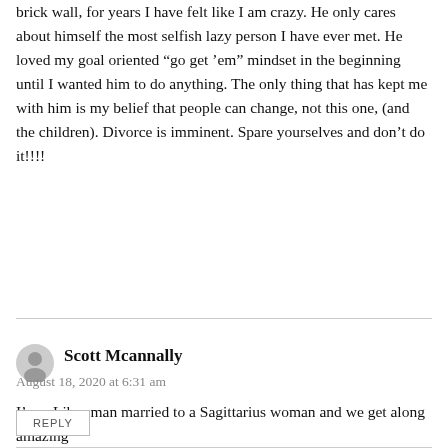brick wall, for years I have felt like I am crazy. He only cares about himself the most selfish lazy person I have ever met. He loved my goal oriented “go get ’em” mindset in the beginning until I wanted him to do anything. The only thing that has kept me with him is my belief that people can change, not this one, (and the children). Divorce is imminent. Spare yourselves and don’t do it!!!!
Scott Mcannally
August 18, 2020 at 6:31 am
I’m a Libra man married to a Sagittarius woman and we get along amazing
REPLY